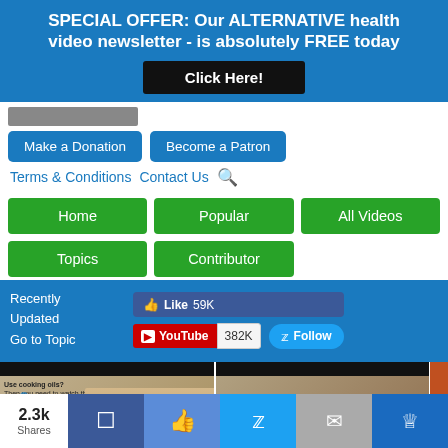SPECIAL OFFER: Our ALTERNATIVE health video newsletter - is absolutely FREE today
Click Here!
Make a Donation
Become a Patron
Terms & Conditions
Contact Us
Home
Popular
All Videos
Topics
Contributor
Recently Updated
Go to Topic
Like 59K
YouTube 382K
Follow
[Figure (screenshot): Video thumbnail: Use cooking oils? Then you need to watch this!]
[Figure (screenshot): Video thumbnail: Why we're so sick]
2.3k Shares